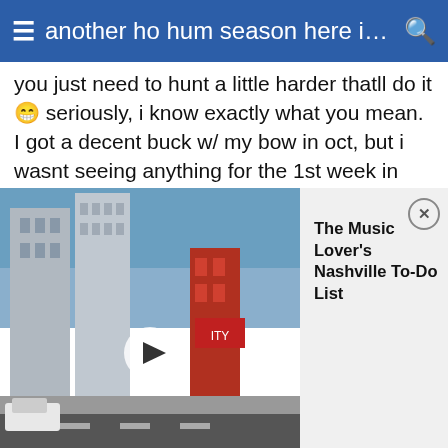another ho hum season here in ...
you just need to hunt a little harder thatll do it😁 seriously, i know exactly what you mean. I got a decent buck w/ my bow in oct, but i wasnt seeing anything for the 1st week in
[Figure (screenshot): Video thumbnail showing a Nashville street scene with tall buildings and neon signs, overlaid with a play button. To the right is an ad panel reading 'The Music Lover's Nashville To-Do List' with a close button.]
encounter w/ a big buck. I sat for 3 days in a row in the same small woodlot and didnt see squat, around noon on the 3rd day, while starring off into space, I caught some movement behind me ,I did a double take and saw one of the biggest bucks ive ever been close to in the woods, 30 yds behind me! i should have just grabbed my gun and turned around and shot him, but like an idiot I decided to grunt at him instead🍒🚧 BIG MISTAKE! cause i acidentaly grunted into my scope and fogged it up long enough for him to slip behind some brush. I kept grunting and trying to get